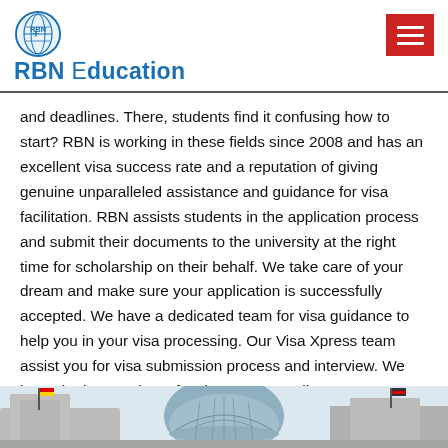[Figure (logo): RBN Education logo with circular globe icon above bold blue text reading 'RBN Education']
and deadlines. There, students find it confusing how to start? RBN is working in these fields since 2008 and has an excellent visa success rate and a reputation of giving genuine unparalleled assistance and guidance for visa facilitation. RBN assists students in the application process and submit their documents to the university at the right time for scholarship on their behalf. We take care of your dream and make sure your application is successfully accepted. We have a dedicated team for visa guidance to help you in your visa processing. Our Visa Xpress team assist you for visa submission process and interview. We have the lowest visa refusal rate among all.
[Figure (photo): Partial photo of German Reichstag building with flag and dome visible, cropped at bottom of page]